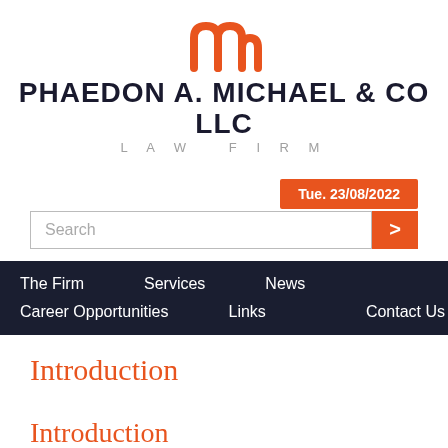[Figure (logo): Phaedon A. Michael & Co LLC Law Firm logo with orange stylized 'nm' icon above firm name]
Tue. 23/08/2022
Search
The Firm
Services
News
Career Opportunities
Links
Contact Us
Introduction
Introduction